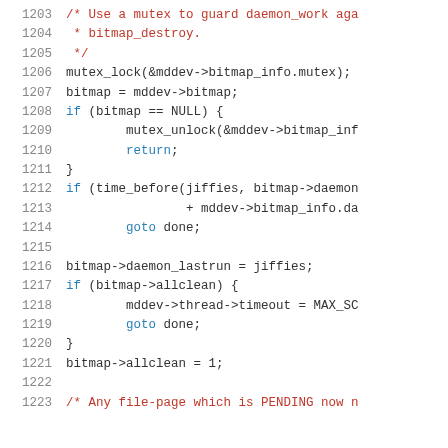[Figure (screenshot): Source code listing showing lines 1203-1223 of a C kernel file, with line numbers on the left and syntax-highlighted code on the right. Comments are in red, keywords (goto, return, if) in blue, and normal code in dark color.]